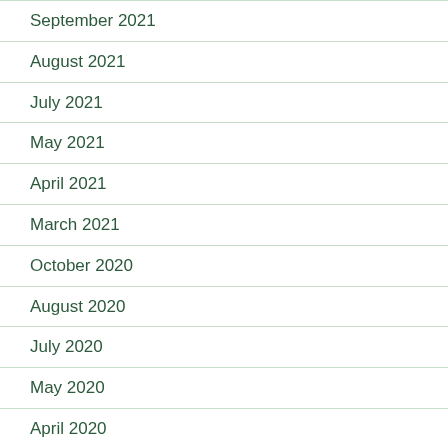September 2021
August 2021
July 2021
May 2021
April 2021
March 2021
October 2020
August 2020
July 2020
May 2020
April 2020